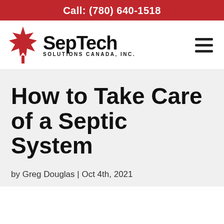Call: (780) 640-1518
[Figure (logo): SepTech Solutions Canada, Inc. logo with red maple leaf icon and hamburger menu icon]
How to Take Care of a Septic System
by Greg Douglas | Oct 4th, 2021